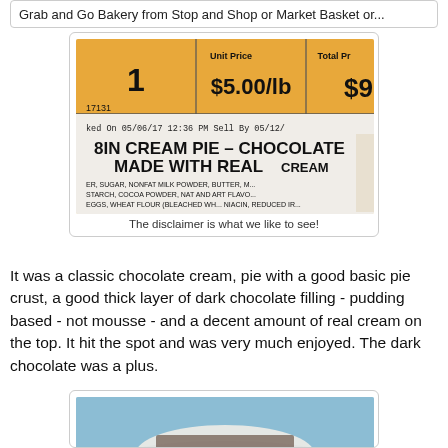Grab and Go Bakery from Stop and Shop or Market Basket or...
[Figure (photo): Close-up photo of a grocery store receipt/label for '8IN CREAM PIE - CHOCOLATE MADE WITH REAL CREAM', priced at $5.00/lb, total $9.9x, dated 05/06/17, with ingredient list visible including sugar, nonfat milk powder, butter, cocoa powder, nat and art flavor, starch, eggs, wheat flour (bleached), niacin, reduced iron, folic acid]
The disclaimer is what we like to see!
It was a classic chocolate cream, pie with a good basic pie crust, a good thick layer of dark chocolate filling - pudding based - not mousse - and a decent amount of real cream on the top.  It hit the spot and was very much enjoyed.  The dark chocolate was a plus.
[Figure (photo): Partial photo of a dessert, showing what appears to be a cream-topped pie slice on a plate, cut off at bottom of page]